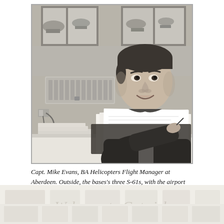[Figure (photo): Black and white photograph of Capt. Mike Evans, BA Helicopters Flight Manager at Aberdeen, sitting at a desk writing/signing documents. He is wearing a dark jacket and smiling at the camera. Behind him are two windows showing the airfield outside with helicopters (S-61s) visible. A wall-mounted electric heater is visible to his left.]
Capt. Mike Evans, BA Helicopters Flight Manager at Aberdeen. Outside, the bases's three S-61s, with the airport terminal seen on the far side of the airfield.